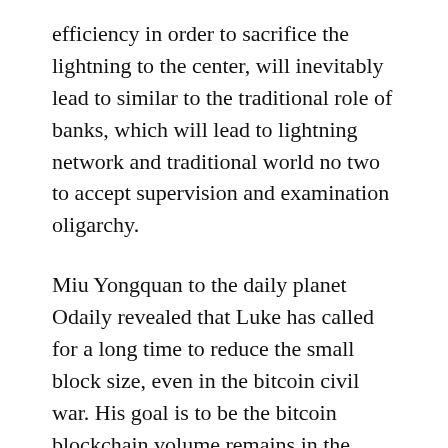efficiency in order to sacrifice the lightning to the center, will inevitably lead to similar to the traditional role of banks, which will lead to lightning network and traditional world no two to accept supervision and examination oligarchy.
Miu Yongquan to the daily planet Odaily revealed that Luke has called for a long time to reduce the small block size, even in the bitcoin civil war. His goal is to be the bitcoin blockchain volume remains in the controllable range."
Similarly, Luke and Blockstream are inextricably linked. According to the Luke Dash